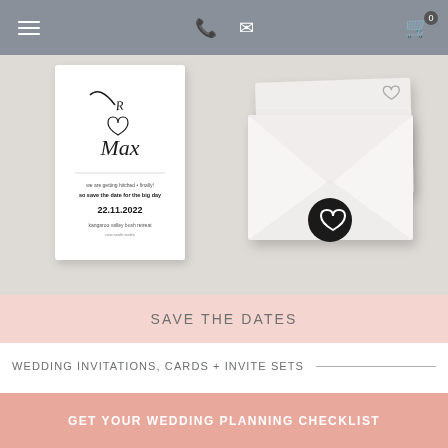Navigation bar with menu, phone, email, and cart icons
[Figure (photo): Save the date card and white envelope with black wax seal featuring a heart, on a light gray background. The card shows script lettering and the date 22.11.2022.]
SAVE THE DATES
WEDDING INVITATIONS, CARDS + INVITE SETS
GET YOUR WEDDING PLANNING CHECKLIST